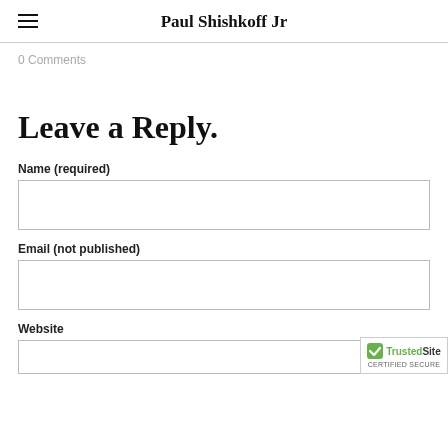Paul Shishkoff Jr
0 Comments
Leave a Reply.
Name (required)
Email (not published)
Website
[Figure (logo): TrustedSite CERTIFIED SECURE badge with green checkmark]